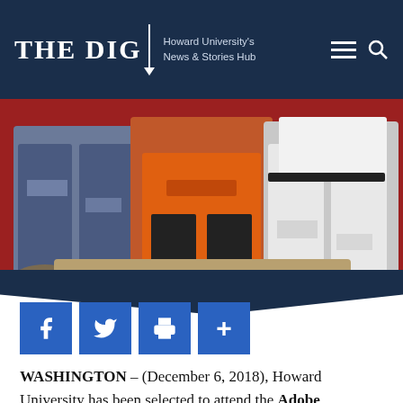THE DIG | Howard University's News & Stories Hub
[Figure (photo): Three people seated together against a red background. One person on the left wears ripped blue jeans, the center person wears an orange hoodie with black pants, and the right person wears ripped white jeans and white outfit.]
[Figure (infographic): Social sharing buttons: Facebook (f), Twitter (bird icon), Print (printer icon), Plus (+)]
WASHINGTON – (December 6, 2018), Howard University has been selected to attend the Adobe Worldwide Sales Conference this December in Las